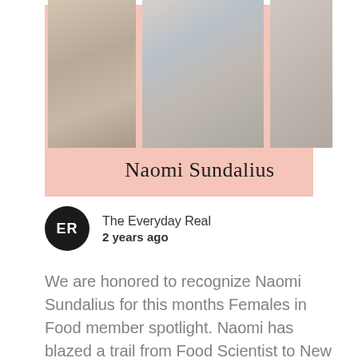[Figure (photo): A photo collage with a salmon/pink background showing three photos side by side. The center photo shows children and an adult, with a cursive signature reading 'Naomi Sundalius' below the photos.]
The Everyday Real
2 years ago
We are honored to recognize Naomi Sundalius for this months Females in Food member spotlight. Naomi has blazed a trail from Food Scientist to New Ventures Manager. Read this short Q&A to learn more about Naomi, her career